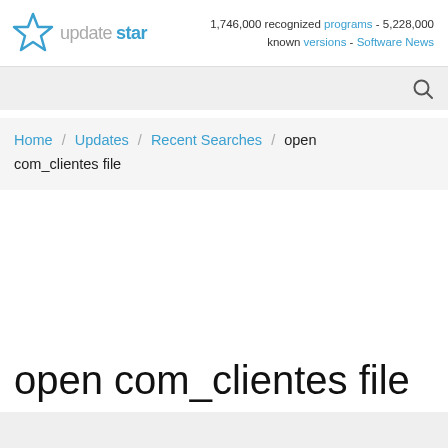[Figure (logo): UpdateStar logo — a star outline icon followed by the text 'update' in gray and 'star' in blue]
1,746,000 recognized programs - 5,228,000 known versions - Software News
[Figure (other): Search bar with magnifying glass icon on gray background]
Home / Updates / Recent Searches / open com_clientes file
open com_clientes file